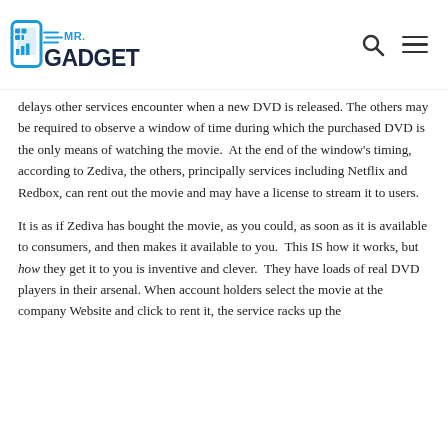Mr. Gadget logo with search and menu icons
delays other services encounter when a new DVD is released. The others may be required to observe a window of time during which the purchased DVD is the only means of watching the movie.  At the end of the window's timing, according to Zediva, the others, principally services including Netflix and Redbox, can rent out the movie and may have a license to stream it to users.
It is as if Zediva has bought the movie, as you could, as soon as it is available to consumers, and then makes it available to you.  This IS how it works, but how they get it to you is inventive and clever.  They have loads of real DVD players in their arsenal. When account holders select the movie at the company Website and click to rent it, the service racks up the